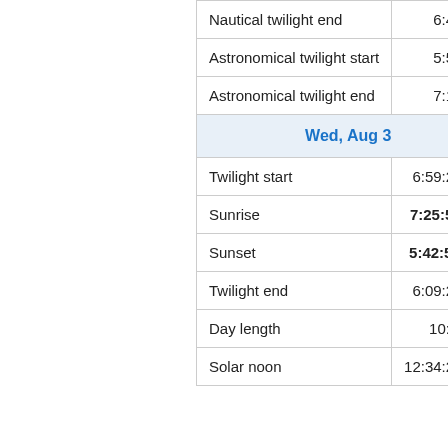| Event | Time |
| --- | --- |
| Nautical twilight end | 6:40 pm |
| Astronomical twilight start | 5:57 am |
| Astronomical twilight end | 7:11 pm |
| Wed, Aug 3 |  |
| Twilight start | 6:59:23 am |
| Sunrise | 7:25:53 am |
| Sunset | 5:42:51 pm |
| Twilight end | 6:09:21 pm |
| Day length | 10:16:58 |
| Solar noon | 12:34:22 pm |